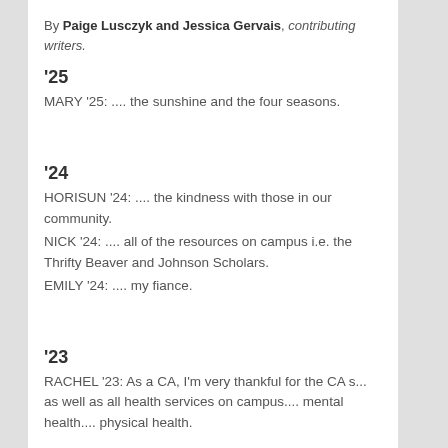By Paige Lusczyk and Jessica Gervais, contributing writers.
’25
MARY ’25: .... the sunshine and the four seasons.
’24
HORISUN ’24: .... the kindness with those in our community.
NICK ’24: .... all of the resources on campus i.e. the Thrifty Beaver and Johnson Scholars.
EMILY ’24: .... my fiance.
’23
RACHEL ’23: As a CA, I’m very thankful for the CA s... as well as all health services on campus.... mental health.... physical health.